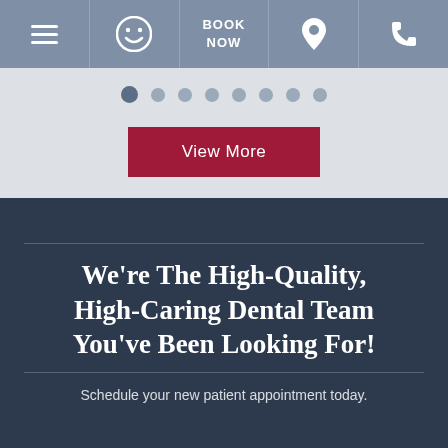Navigation bar with menu, smiley icon, BOOK NOW, location pin, and phone icons
[Figure (screenshot): Slideshow pagination dots row — 8 dots with first dot active/filled]
View More
We’re The High-Quality, High-Caring Dental Team You’ve Been Looking For!
Schedule your new patient appointment today.